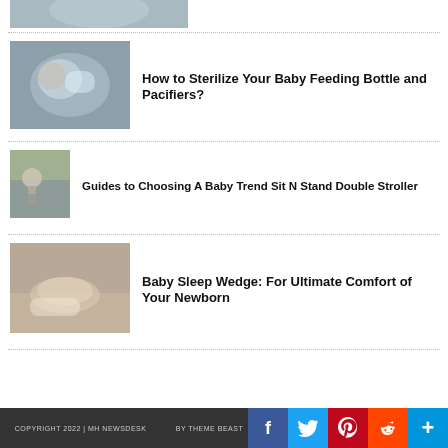[Figure (photo): Partial top image of baby/person cropped at top]
How to Sterilize Your Baby Feeding Bottle and Pacifiers?
[Figure (photo): Baby drinking from feeding bottle]
Guides to Choosing A Baby Trend Sit N Stand Double Stroller
[Figure (photo): Person with double stroller outdoors]
Baby Sleep Wedge: For Ultimate Comfort of Your Newborn
[Figure (photo): Baby sleeping on wedge pillow]
COPYRIGHT 2022 | MH NEWSDESK ... BY THEME BEAST